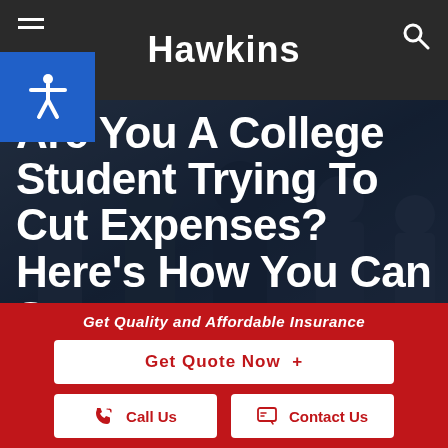Hawkins
[Figure (screenshot): Website header screenshot showing Hawkins insurance agency page with accessibility icon, hamburger menu, search icon, hero image with dark overlay of people in suits, large white bold text heading, red CTA section with Get Quote Now button, Call Us and Contact Us buttons]
Are You A College Student Trying To Cut Expenses? Here’s How You Can Save Mo...
Get Quality and Affordable Insurance
Get Quote Now  +
Call Us
Contact Us